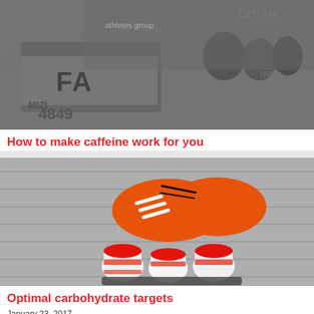[Figure (photo): Black and white photo of cyclists/athletes near a vehicle with text partially visible including 'FA' and numbers '4849']
How to make caffeine work for you
October 01, 2017
[Figure (photo): Color photo of orange running shoes and red/white handheld water bottles on a wooden surface]
Optimal carbohydrate targets
January 23, 2017